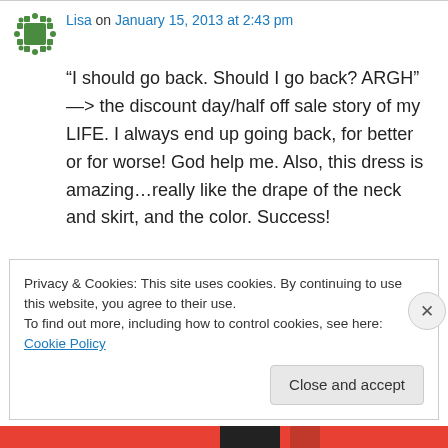Lisa on January 15, 2013 at 2:43 pm
“I should go back. Should I go back? ARGH” —> the discount day/half off sale story of my LIFE. I always end up going back, for better or for worse! God help me. Also, this dress is amazing…really like the drape of the neck and skirt, and the color. Success!
↳ Reply
Privacy & Cookies: This site uses cookies. By continuing to use this website, you agree to their use.
To find out more, including how to control cookies, see here: Cookie Policy
Close and accept